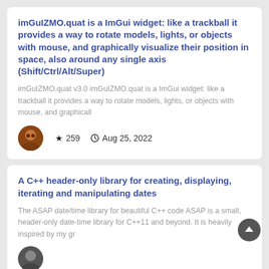imGuIZMO.quat is a ImGui widget: like a trackball it provides a way to rotate models, lights, or objects with mouse, and graphically visualize their position in space, also around any single axis (Shift/Ctrl/Alt/Super)
imGuIZMO.quat v3.0 imGuIZMO.quat is a ImGui widget: like a trackball it provides a way to rotate models, lights, or objects with mouse, and graphicall
★ 259   🕐 Aug 25, 2022
A C++ header-only library for creating, displaying, iterating and manipulating dates
The ASAP date/time library for beautiful C++ code ASAP is a small, header-only date-time library for C++11 and beyond. It is heavily inspired by my gr